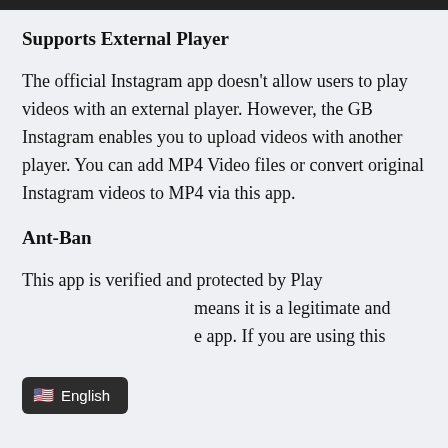Supports External Player
The official Instagram app doesn't allow users to play videos with an external player. However, the GB Instagram enables you to upload videos with another player. You can add MP4 Video files or convert original Instagram videos to MP4 via this app.
Ant-Ban
This app is verified and protected by Play means it is a legitimate and e app. If you are using this
[Figure (other): Language selection badge showing US flag emoji and 'English' text on dark background]